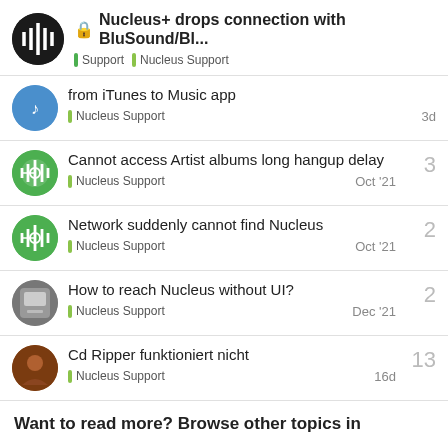Nucleus+ drops connection with BluSound/Bl... | Support | Nucleus Support
from iTunes to Music app | Nucleus Support | 3d
Cannot access Artist albums long hangup delay | Nucleus Support | 3 | Oct '21
Network suddenly cannot find Nucleus | Nucleus Support | 2 | Oct '21
How to reach Nucleus without UI? | Nucleus Support | 2 | Dec '21
Cd Ripper funktioniert nicht | Nucleus Support | 13 | 16d
Want to read more? Browse other topics in